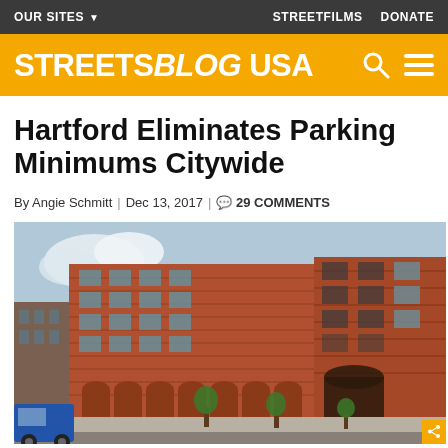OUR SITES ▾   STREETFILMS   DONATE
[Figure (logo): Streetsblog USA logo on yellow/gold background with search and hamburger menu icons]
Hartford Eliminates Parking Minimums Citywide
By Angie Schmitt | Dec 13, 2017 | 💬 29 COMMENTS
[Figure (photo): Street-level photo of a large multi-story red brick building in Hartford with arched ground-floor openings, multiple rows of windows, and a sidewalk with trees in the foreground. A blue vehicle is visible at the lower left.]